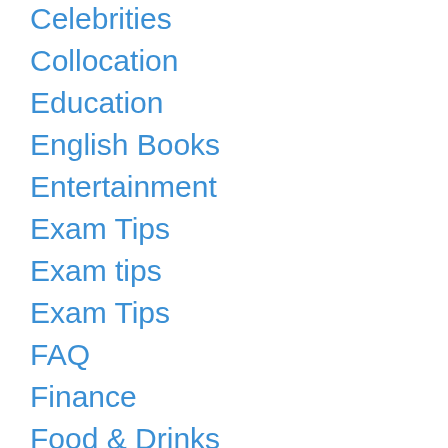Celebrities
Collocation
Education
English Books
Entertainment
Exam Tips
Exam tips
Exam Tips
FAQ
Finance
Food & Drinks
Gamble
Gaming